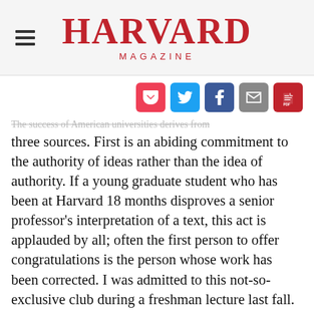HARVARD MAGAZINE
The success of American universities derives from three sources. First is an abiding commitment to the authority of ideas rather than the idea of authority. If a young graduate student who has been at Harvard 18 months disproves a senior professor's interpretation of a text, this act is applauded by all; often the first person to offer congratulations is the person whose work has been corrected. I was admitted to this not-so-exclusive club during a freshman lecture last fall. I had assigned a project I had written on international financial crises. One student, asked to summarize